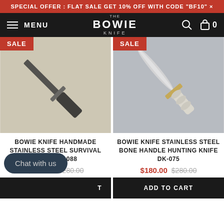SPECIAL OFFER : FLAT SALE GET 10% OFF WITH CODE "BF10" ×
[Figure (screenshot): Navigation bar with hamburger menu, THE BOWIE KNIFE logo, search icon, and cart icon showing 0]
[Figure (photo): Bowie knife handmade stainless steel survival knife DK-088 with black handle on light background, SALE badge in top left]
[Figure (photo): Bowie knife stainless steel bone handle hunting knife DK-075 with gold guard on grey background, SALE badge in top left]
BOWIE KNIFE HANDMADE STAINLESS STEEL SURVIVAL KNIFE DK-088
BOWIE KNIFE STAINLESS STEEL BONE HANDLE HUNTING KNIFE DK-075
$180.00 $280.00
$180.00 $280.00
Chat with us
ADD TO CART
ADD TO CART